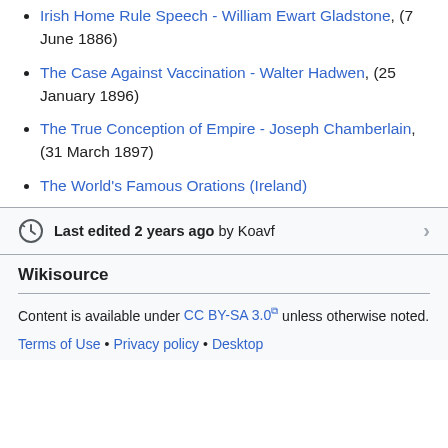Irish Home Rule Speech - William Ewart Gladstone, (7 June 1886)
The Case Against Vaccination - Walter Hadwen, (25 January 1896)
The True Conception of Empire - Joseph Chamberlain, (31 March 1897)
The World's Famous Orations (Ireland)
Last edited 2 years ago by Koavf
Wikisource
Content is available under CC BY-SA 3.0 unless otherwise noted.
Terms of Use • Privacy policy • Desktop